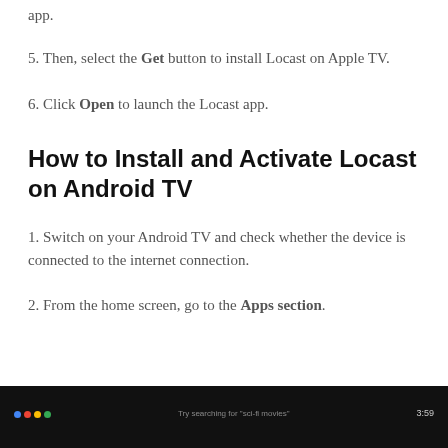app.
5. Then, select the Get button to install Locast on Apple TV.
6. Click Open to launch the Locast app.
How to Install and Activate Locast on Android TV
1. Switch on your Android TV and check whether the device is connected to the internet connection.
2. From the home screen, go to the Apps section.
[Figure (screenshot): Screenshot of Android TV home screen showing bottom navigation bar with Google Assistant icon and status icons including time 3:59]